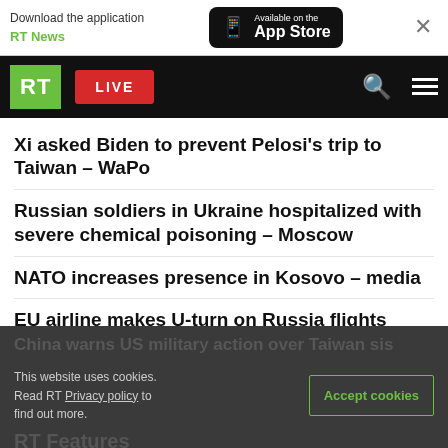Download the application RT News — Available on the App Store
[Figure (logo): RT logo and navigation bar with LIVE button, search and menu icons]
Xi asked Biden to prevent Pelosi's trip to Taiwan – WaPo
Russian soldiers in Ukraine hospitalized with severe chemical poisoning – Moscow
NATO increases presence in Kosovo – media
EU airline makes U-turn on Russia flights
Swiss police warn of winter riots
This website uses cookies. Read RT Privacy policy to find out more. Accept cookies
RT Features